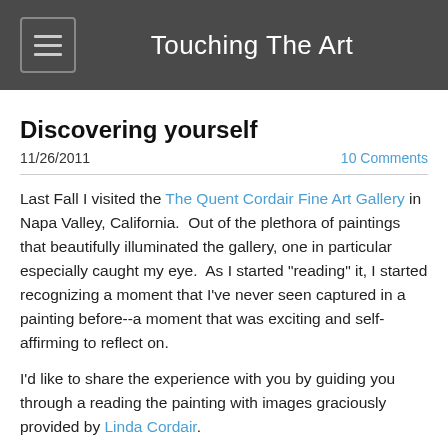Touching The Art
Discovering yourself
11/26/2011   10 Comments
Last Fall I visited the The Quent Cordair Fine Art Gallery in Napa Valley, California.  Out of the plethora of paintings that beautifully illuminated the gallery, one in particular especially caught my eye.  As I started "reading" it, I started recognizing a moment that I've never seen captured in a painting before--a moment that was exciting and self-affirming to reflect on.
I'd like to share the experience with you by guiding you through a reading the painting with images graciously provided by Linda Cordair.
Below are a few questions to help you understand what kind of moment this painting experience is...